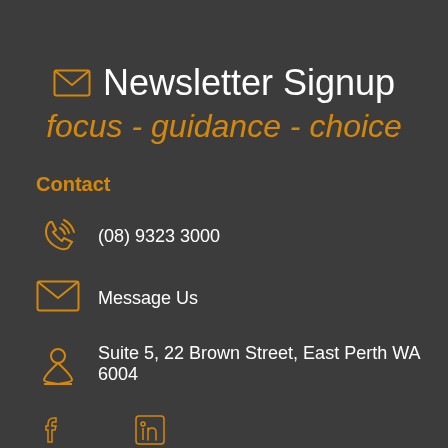Newsletter Signup
focus - guidance - choice
Contact
(08) 9323 3000
Message Us
Suite 5, 22 Brown Street, East Perth WA 6004